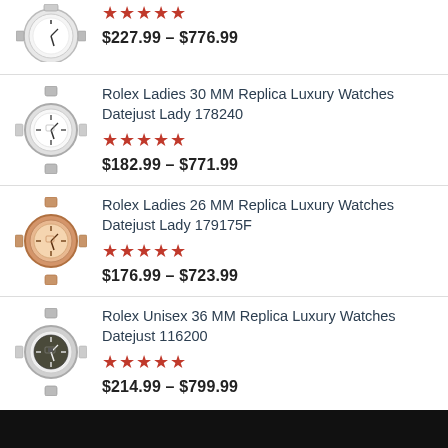stars: 5, price: $227.99 – $776.99
Rolex Ladies 30 MM Replica Luxury Watches Datejust Lady 178240, stars: 5, price: $182.99 – $771.99
Rolex Ladies 26 MM Replica Luxury Watches Datejust Lady 179175F, stars: 5, price: $176.99 – $723.99
Rolex Unisex 36 MM Replica Luxury Watches Datejust 116200, stars: 5, price: $214.99 – $799.99